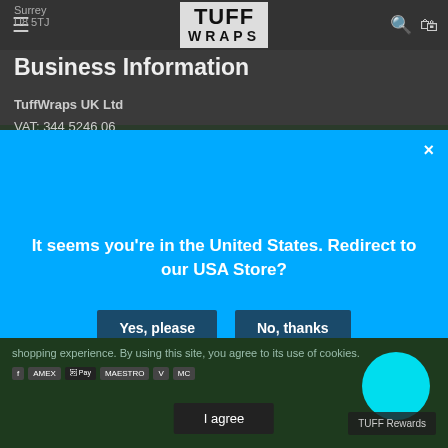TUFF WRAPS
Surrey
U8 5TJ
Business Information
TuffWraps UK Ltd
VAT: 344 5246 06
[Figure (screenshot): Blue modal dialog overlay on TuffWraps website asking 'It seems you're in the United States. Redirect to our USA Store?' with 'Yes, please' and 'No, thanks' buttons and an X close button.]
shopping experience. By using this site, you agree to its use of cookies.
I agree
TUFF Rewards